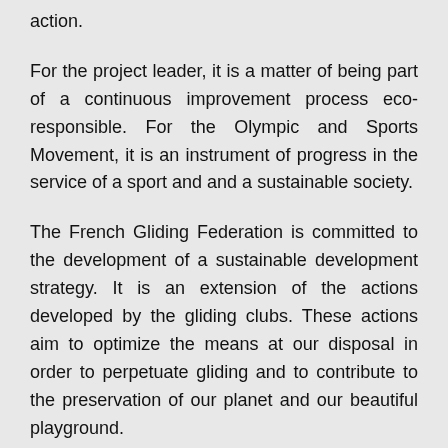action.
For the project leader, it is a matter of being part of a continuous improvement process eco-responsible. For the Olympic and Sports Movement, it is an instrument of progress in the service of a sport and and a sustainable society.
The French Gliding Federation is committed to the development of a sustainable development strategy. It is an extension of the actions developed by the gliding clubs. These actions aim to optimize the means at our disposal in order to perpetuate gliding and to contribute to the preservation of our planet and our beautiful playground.
The Gliding club of Vinon (Association Aéronautique Verdon Alpilles) is involved in the following projects: